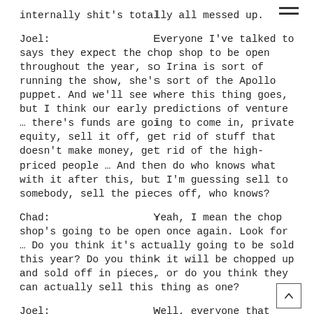internally shit's totally all messed up.
Joel:   Everyone I've talked to says they expect the chop shop to be open throughout the year, so Irina is sort of running the show, she's sort of the Apollo puppet. And we'll see where this thing goes, but I think our early predictions of venture … there's funds are going to come in, private equity, sell it off, get rid of stuff that doesn't make money, get rid of the high-priced people … And then do who knows what with it after this, but I'm guessing sell to somebody, sell the pieces off, who knows?
Chad:   Yeah, I mean the chop shop's going to be open once again. Look for … Do you think it's actually going to be sold this year? Do you think it will be chopped up and sold off in pieces, or do you think they can actually sell this thing as one?
Joel:   Well, everyone that we've